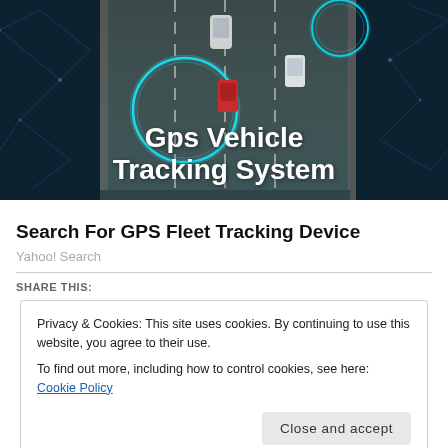[Figure (photo): Aerial view of vehicles on a road with glowing GPS tracking circles overlaid, dark teal background with network polygon patterns on sides. Text 'Gps Vehicle Tracking System' overlaid in bold white.]
Search For GPS Fleet Tracking Device
Yahoo! Search
SHARE THIS:
Privacy & Cookies: This site uses cookies. By continuing to use this website, you agree to their use.
To find out more, including how to control cookies, see here: Cookie Policy
Close and accept